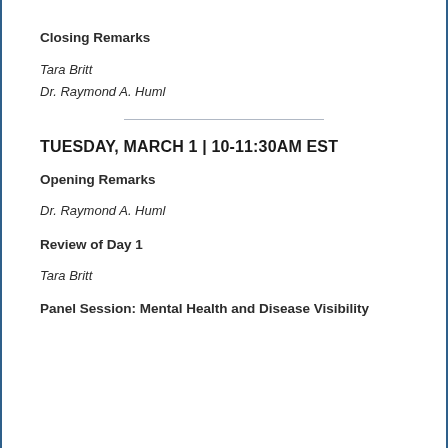Closing Remarks
Tara Britt
Dr. Raymond A. Huml
TUESDAY, MARCH 1 | 10-11:30AM EST
Opening Remarks
Dr. Raymond A. Huml
Review of Day 1
Tara Britt
Panel Session: Mental Health and Disease Visibility